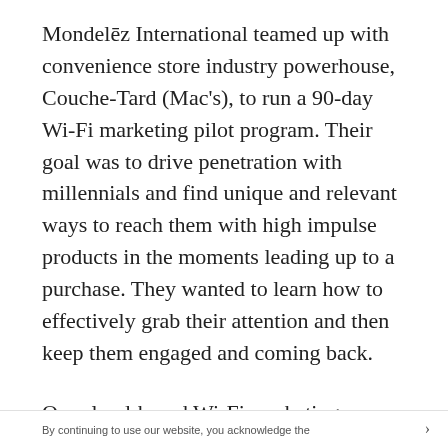Mondelēz International teamed up with convenience store industry powerhouse, Couche-Tard (Mac's), to run a 90-day Wi-Fi marketing pilot program. Their goal was to drive penetration with millennials and find unique and relevant ways to reach them with high impulse products in the moments leading up to a purchase. They wanted to learn how to effectively grab their attention and then keep them engaged and coming back.
Our cloud-based Wi-Fi marketing platform, powered by Cisco Meraki access points, allowed the two retail giants to successfully map, analyze, and market to customers, generating a considerable increase in revenue and customer loyalty. We were able to help Mac's & Mondelēz
By continuing to use our website, you acknowledge the